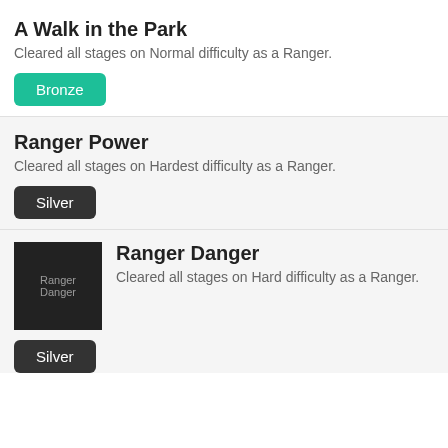A Walk in the Park
Cleared all stages on Normal difficulty as a Ranger.
Bronze
Ranger Power
Cleared all stages on Hardest difficulty as a Ranger.
Silver
[Figure (photo): Ranger Danger achievement icon image]
Ranger Danger
Cleared all stages on Hard difficulty as a Ranger.
Silver